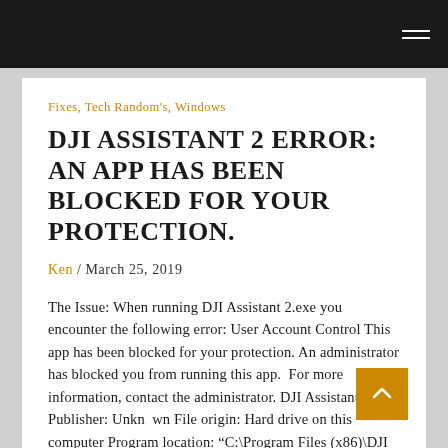Fixes, Tech Random's, Windows
DJI ASSISTANT 2 ERROR: AN APP HAS BEEN BLOCKED FOR YOUR PROTECTION.
Ken / March 25, 2019
The Issue: When running DJI Assistant 2.exe you encounter the following error: User Account Control This app has been blocked for your protection. An administrator has blocked you from running this app.  For more information, contact the administrator. DJI Assistant 2.exe Publisher: Unknown File origin: Hard drive on this computer Program location: “C:\Program Files (x86)\DJI Product\DJI Assistant 2 For Phantom\DJI